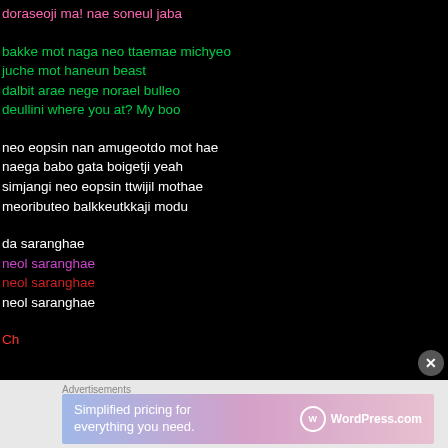doraseoji ma! nae soneul jaba
bakke mot naga neo ttaemae michyeo
juche mot haneun beast
dalbit arae nege norael bulleo
deullini where you at? My boo
neo eopsin nan amugeotdo mot hae
naega babo gata boigetji yeah
simjangi neo eopsin ttwijil mothae
meoributeo balkkeutkkaji modu
da saranghae
neol saranghae
neol saranghae
neol saranghae
[Figure (screenshot): WordPress.com advertisement banner at bottom of page with text 'Simplified pricing for everything you need.']